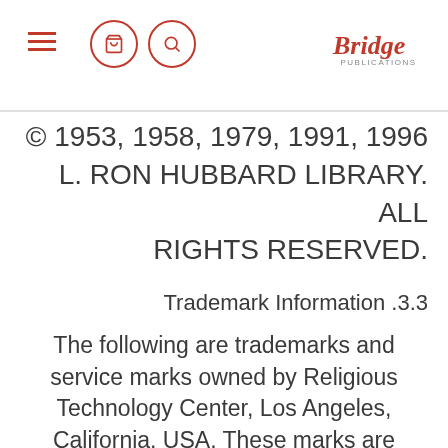Bridge Publications logo header with navigation icons
© 1953, 1958, 1979, 1991, 1996 L. RON HUBBARD LIBRARY. ALL RIGHTS RESERVED.
3.3. Trademark Information
The following are trademarks and service marks owned by Religious Technology Center, Los Angeles, California, USA. These marks are licensed for use by the Church of Scientology International and its affiliated organizations and have been